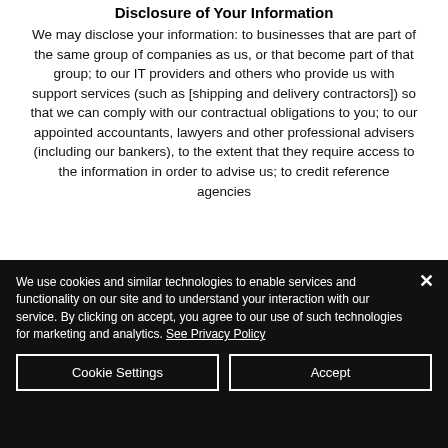Disclosure of Your Information
We may disclose your information: to businesses that are part of the same group of companies as us, or that become part of that group; to our IT providers and others who provide us with support services (such as [shipping and delivery contractors]) so that we can comply with our contractual obligations to you; to our appointed accountants, lawyers and other professional advisers (including our bankers), to the extent that they require access to the information in order to advise us; to credit reference agencies
We use cookies and similar technologies to enable services and functionality on our site and to understand your interaction with our service. By clicking on accept, you agree to our use of such technologies for marketing and analytics. See Privacy Policy
Cookie Settings
Accept